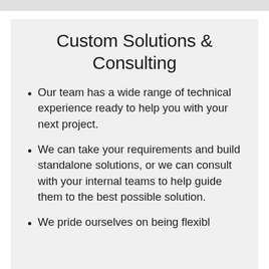Custom Solutions & Consulting
Our team has a wide range of technical experience ready to help you with your next project.
We can take your requirements and build standalone solutions, or we can consult with your internal teams to help guide them to the best possible solution.
We pride ourselves on being flexible...